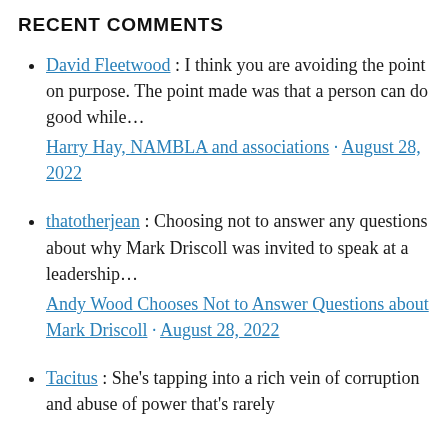RECENT COMMENTS
David Fleetwood : I think you are avoiding the point on purpose. The point made was that a person can do good while... Harry Hay, NAMBLA and associations · August 28, 2022
thatotherjean : Choosing not to answer any questions about why Mark Driscoll was invited to speak at a leadership... Andy Wood Chooses Not to Answer Questions about Mark Driscoll · August 28, 2022
Tacitus : She's tapping into a rich vein of corruption and abuse of power that's rarely